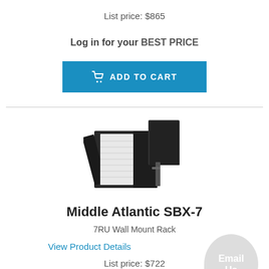List price: $865
Log in for your BEST PRICE
ADD TO CART
[Figure (photo): Product photo of Middle Atlantic wall mount rack enclosure, black metal cabinet shown at an angle with door open]
Middle Atlantic SBX-7
7RU Wall Mount Rack
View Product Details
List price: $722
Log in for your BEST PRICE